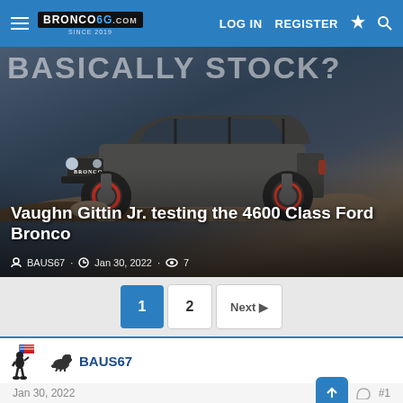BRONCO6G.COM SINCE 2019 | LOG IN | REGISTER
[Figure (photo): Hero image of a Ford Bronco 4600 Class race vehicle on rocky terrain with text overlay 'BASICALLY STOCK?' and title 'Vaughn Gittin Jr. testing the 4600 Class Ford Bronco' by BAUS67, Jan 30, 2022, 7 views]
Vaughn Gittin Jr. testing the 4600 Class Ford Bronco
BAUS67 · Jan 30, 2022 · 7
1  2  Next
BAUS67
Jan 30, 2022
#1